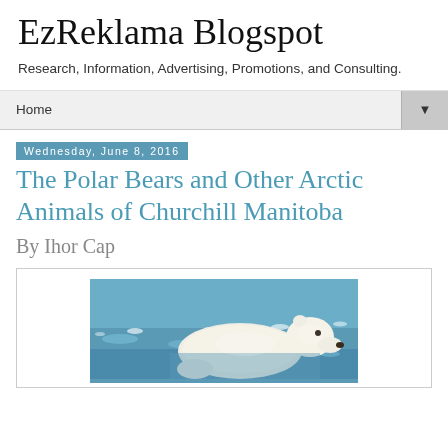EzReklama Blogspot
Research, Information, Advertising, Promotions, and Consulting.
Home
Wednesday, June 8, 2016
The Polar Bears and Other Arctic Animals of Churchill Manitoba
By Ihor Cap
[Figure (photo): Photograph of a polar bear partially submerged in icy blue arctic water, viewed from the side, head raised.]